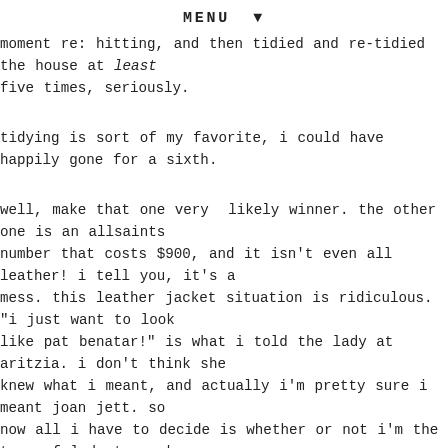MENU ▼
moment re: hitting, and then tidied and re-tidied the house at least five times, seriously.
tidying is sort of my favorite, i could have happily gone for a sixth.
well, make that one very likely winner. the other one is an allsaints number that costs $900, and it isn't even all leather! i tell you, it's a mess. this leather jacket situation is ridiculous. "i just want to look like pat benatar!" is what i told the lady at aritzia. i don't think she knew what i meant, and actually i'm pretty sure i meant joan jett. so now all i have to decide is whether or not i'm the type of lady to rock a brown motorcycle jacket. indiana jones style. or was his more of a bomber.
it's been one long week and a half since the family was here, and it's remarkable to me how much i've missed them already. these photos are unrelated to everything there is, but i love them so there. i